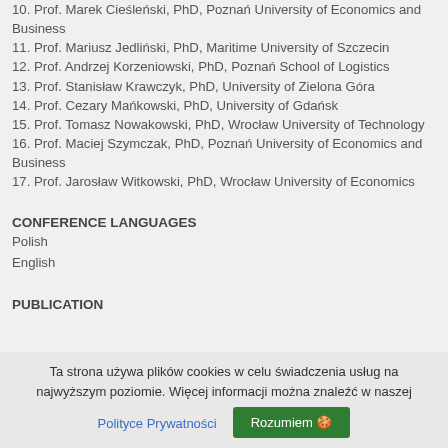10. Prof. Marek Cieśleński, PhD, Poznań University of Economics and Business
11. Prof. Mariusz Jedliński, PhD, Maritime University of Szczecin
12. Prof. Andrzej Korzeniowski, PhD, Poznań School of Logistics
13. Prof. Stanisław Krawczyk, PhD, University of Zielona Góra
14. Prof. Cezary Mańkowski, PhD, University of Gdańsk
15. Prof. Tomasz Nowakowski, PhD, Wrocław University of Technology
16. Prof. Maciej Szymczak, PhD, Poznań University of Economics and Business
17. Prof. Jarosław Witkowski, PhD, Wrocław University of Economics
CONFERENCE LANGUAGES
Polish
English
PUBLICATION
Ta strona używa plików cookies w celu świadczenia usług na najwyższym poziomie. Więcej informacji można znaleźć w naszej
Polityce Prywatności
Rozumiem 🍪